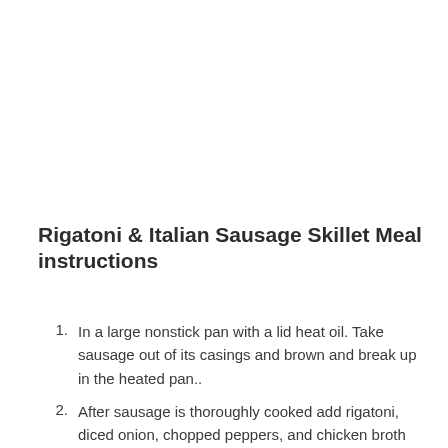Rigatoni & Italian Sausage Skillet Meal instructions
In a large nonstick pan with a lid heat oil. Take sausage out of its casings and brown and break up in the heated pan..
After sausage is thoroughly cooked add rigatoni, diced onion, chopped peppers, and chicken broth